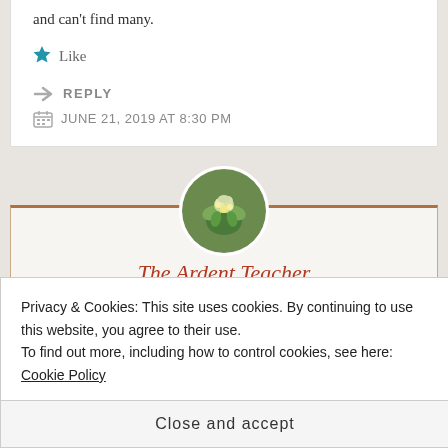and can't find many.
★ Like
↪ REPLY
JUNE 21, 2019 AT 8:30 PM
[Figure (photo): Circular avatar photo of flowers/plant, used as author profile picture]
The Ardent Teacher
Hi there. So, unfortunately I did not buy the
Privacy & Cookies: This site uses cookies. By continuing to use this website, you agree to their use.
To find out more, including how to control cookies, see here: Cookie Policy
Close and accept
other supply companies such as Glenco,